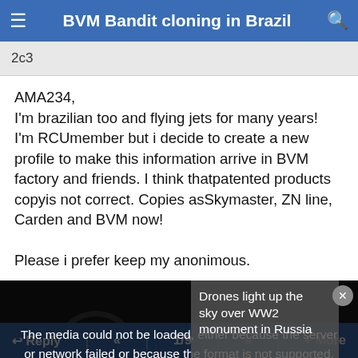BVM Bandit cloning in Brazil
2c3
AMA234,
I'm brazilian too and flying jets for many years!
I'm RCUmember but i decide to create a new profile to make this information arrive in BVM factory and friends. I think thatpatented products copyis not correct. Copies asSkymaster, ZN line, Carden and BVM now!

Please i prefer keep my anonimous.
[Figure (screenshot): Video player showing error: 'The media could not be loaded, either because the server or network failed or because the format is not supported.' with a side panel showing text 'Drones light up the sky over WW2 monument in Russia']
Reply  «  1/9  »  + More